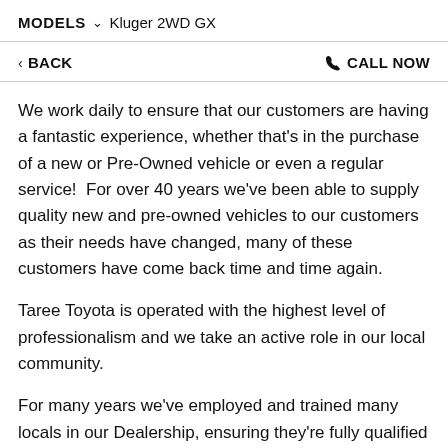MODELS  ∨  Kluger 2WD GX
< BACK    ☎ CALL NOW
We work daily to ensure that our customers are having a fantastic experience, whether that's in the purchase of a new or Pre-Owned vehicle or even a regular service!  For over 40 years we've been able to supply quality new and pre-owned vehicles to our customers as their needs have changed, many of these customers have come back time and time again.
Taree Toyota is operated with the highest level of professionalism and we take an active role in our local community.
For many years we've employed and trained many locals in our Dealership, ensuring they're fully qualified to support your vehicle needs as well as take care of the local